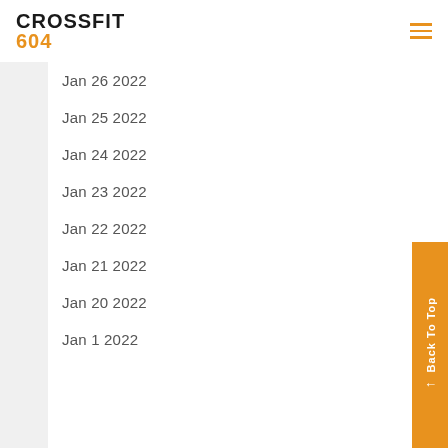CROSSFIT 604
Jan 26 2022
Jan 25 2022
Jan 24 2022
Jan 23 2022
Jan 22 2022
Jan 21 2022
Jan 20 2022
Jan 1 2022